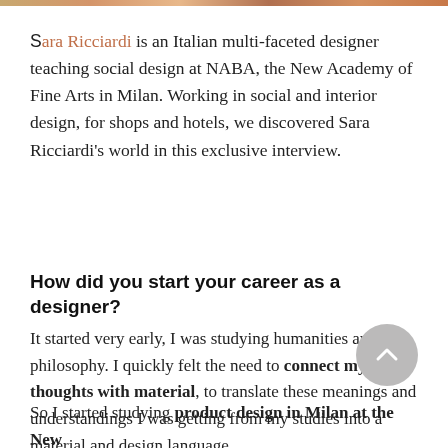[Figure (photo): Colorful photo strip at the top of the page]
Sara Ricciardi is an Italian multi-faceted designer teaching social design at NABA, the New Academy of Fine Arts in Milan. Working in social and interior design, for shops and hotels, we discovered Sara Ricciardi's world in this exclusive interview.
How did you start your career as a designer?
It started very early, I was studying humanities and philosophy. I quickly felt the need to connect my thoughts with material, to translate these meanings and understandings I was getting from my studies into a material and design language.
So I started studying product design in Milan at the New